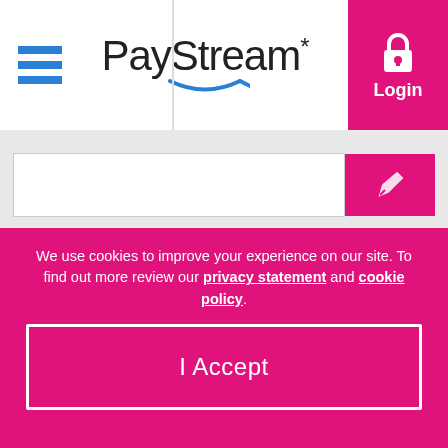[Figure (screenshot): PayStream website header with hamburger menu icon on left, PayStream logo with smile in center, and pink Login button with padlock icon on top right]
[Figure (illustration): Social media illustration showing animated blue figures interacting with LinkedIn (pink circle), Facebook (purple circle), and Twitter (green circle) social media icons]
We use cookies to improve your experience on our site. To find out more review our privacy statement and cookie policy.
I Accept